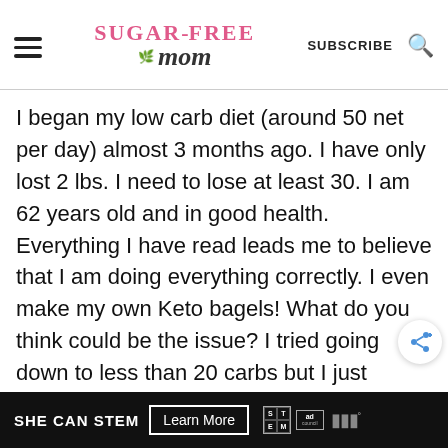SUGAR-FREE MOM | SUBSCRIBE
I began my low carb diet (around 50 net per day) almost 3 months ago. I have only lost 2 lbs. I need to lose at least 30. I am 62 years old and in good health. Everything I have read leads me to believe that I am doing everything correctly. I even make my own Keto bagels! What do you think could be the issue? I tried going down to less than 20 carbs but I just cannot
SHE CAN STEM   Learn More